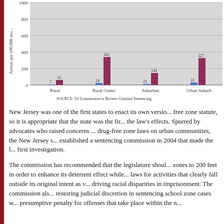[Figure (grouped-bar-chart): Arrests per 100,000 residents by area type]
New Jersey was one of the first states to enact its own version of the drug-free zone statute, so it is appropriate that the state was the first to study the law's effects. Spurred by advocates who raised concerns about the impact of drug-free zone laws on urban communities, the New Jersey state legislature established a sentencing commission in 2004 that made the law the subject of its first investigation.
The commission has recommended that the legislature should reduce school zones to 200 feet in order to enhance its deterrent effect while eliminating the laws for activities that clearly fall outside its original intent as well as those driving racial disparities in imprisonment. The commission also recommended restoring judicial discretion in sentencing school zone cases while preserving a presumptive penalty for offenses that take place within the n...